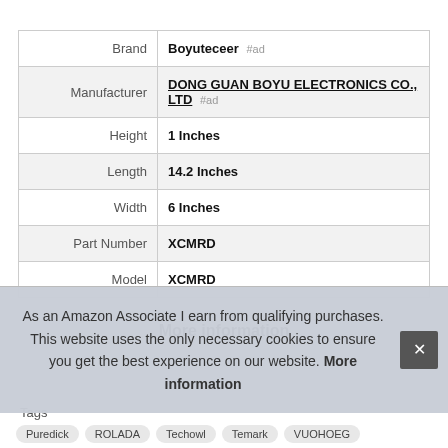| Attribute | Value |
| --- | --- |
| Brand | Boyuteceer #ad |
| Manufacturer | DONG GUAN BOYU ELECTRONICS CO., LTD #ad |
| Height | 1 Inches |
| Length | 14.2 Inches |
| Width | 6 Inches |
| Part Number | XCMRD |
| Model | XCMRD |
More information
Tags
Puredick  ROLADA  Techowl  Temark  VUOHOEG
As an Amazon Associate I earn from qualifying purchases. This website uses the only necessary cookies to ensure you get the best experience on our website. More information